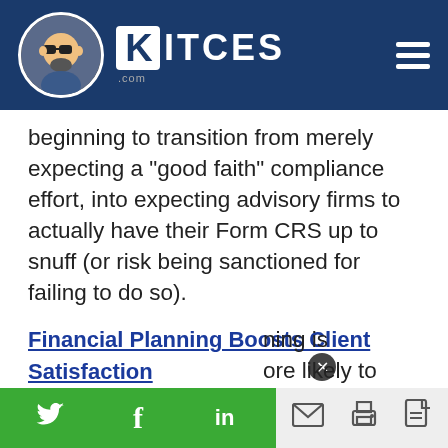KITCES.com
beginning to transition from merely expecting a "good faith" compliance effort, into expecting advisory firms to actually have their Form CRS up to snuff (or risk being sanctioned for failing to do so).
Financial Planning Boosts Client Satisfaction
(Michael Fischer, ThinkAdvisor) - A new research study from Aon and the Money Management Institute finds that 52% of investors are reporting the value of financial advice is even greater now in the aftermath of the pandemic, and that despite the [financial] planning is [more] likely to